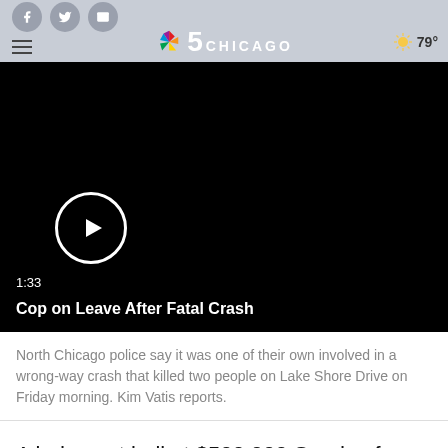NBC 5 Chicago — 79°
[Figure (screenshot): Black video player thumbnail with play button, duration 1:33, title 'Cop on Leave After Fatal Crash']
North Chicago police say it was one of their own involved in a wrong-way crash that killed two people on Lake Shore Drive on Friday morning. Kim Vatis reports.
A judge set bail at $500,000 Sunday for a North Chicago police officer that allegedly drove the wrong way on Lake